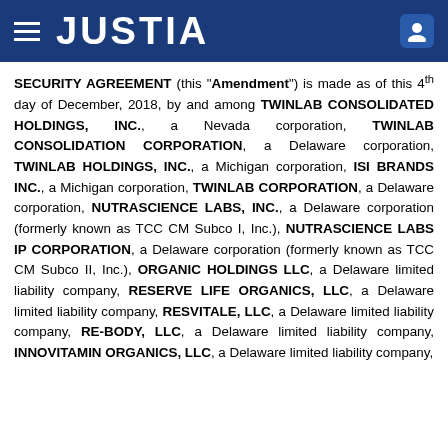JUSTIA
SECURITY AGREEMENT (this "Amendment") is made as of this 4th day of December, 2018, by and among TWINLAB CONSOLIDATED HOLDINGS, INC., a Nevada corporation, TWINLAB CONSOLIDATION CORPORATION, a Delaware corporation, TWINLAB HOLDINGS, INC., a Michigan corporation, ISI BRANDS INC., a Michigan corporation, TWINLAB CORPORATION, a Delaware corporation, NUTRASCIENCE LABS, INC., a Delaware corporation (formerly known as TCC CM Subco I, Inc.), NUTRASCIENCE LABS IP CORPORATION, a Delaware corporation (formerly known as TCC CM Subco II, Inc.), ORGANIC HOLDINGS LLC, a Delaware limited liability company, RESERVE LIFE ORGANICS, LLC, a Delaware limited liability company, RESVITALE, LLC, a Delaware limited liability company, RE-BODY, LLC, a Delaware limited liability company, INNOVITAMIN ORGANICS, LLC, a Delaware limited liability company,